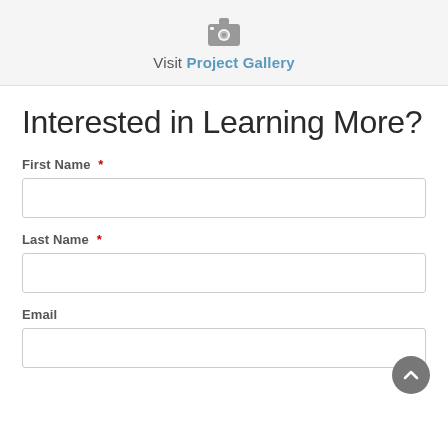[Figure (screenshot): Camera/photo icon in gray]
Visit Project Gallery
Interested in Learning More?
First Name *
Last Name *
Email